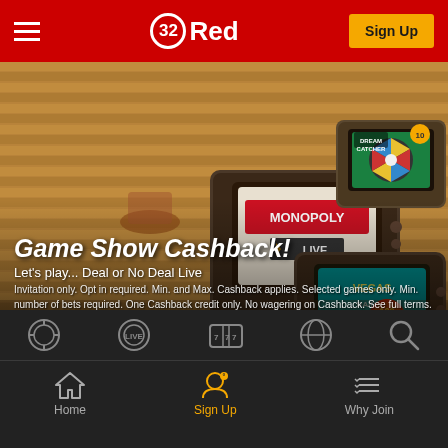32Red — Sign Up
[Figure (screenshot): 32Red casino mobile app screenshot showing vintage TV sets with game show games: Monopoly Live, Dream Catcher, and Vegas Raider with 100x multiplier on a wooden slat background]
Game Show Cashback!
Let's play... Deal or No Deal Live
Invitation only. Opt in required. Min. and Max. Cashback applies. Selected games only. Min. number of bets required. One Cashback credit only. No wagering on Cashback. See full terms.
Login
Home | Sign Up | Why Join